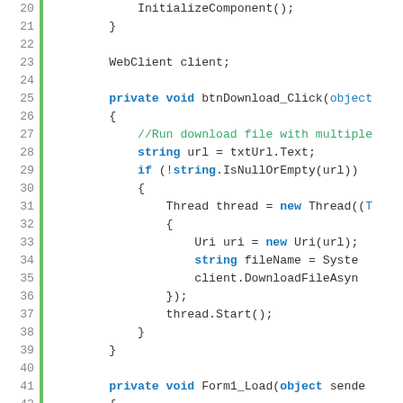[Figure (screenshot): Code editor screenshot showing C# source code lines 20-42. Line numbers on the left with a green gutter bar. Code includes InitializeComponent(), WebClient client declaration, btnDownload_Click event handler with threading logic, and beginning of Form1_Load method.]